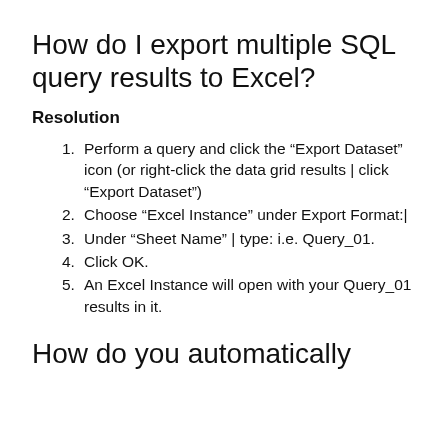How do I export multiple SQL query results to Excel?
Resolution
Perform a query and click the “Export Dataset” icon (or right-click the data grid results | click “Export Dataset”)
Choose “Excel Instance” under Export Format:|
Under “Sheet Name” | type: i.e. Query_01.
Click OK.
An Excel Instance will open with your Query_01 results in it.
How do you automatically